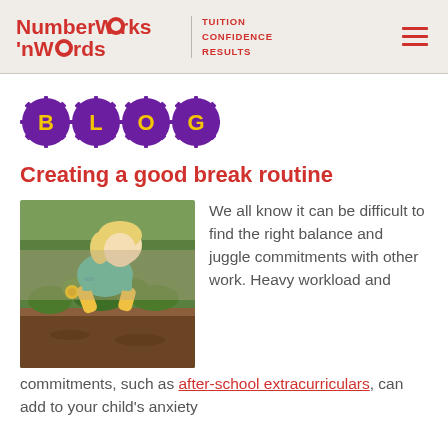NumberWorks 'nWords | TUITION CONFIDENCE RESULTS
[Figure (logo): NumberWorks 'nWords logo with gear/cog letters spelling BLOG in purple circles with yellow letters]
Creating a good break routine
[Figure (photo): Young blonde girl gardening outdoors, leaning over a raised garden bed with plants and soil]
We all know it can be difficult to find the right balance and juggle commitments with other work. Heavy workload and commitments, such as after-school extracurriculars, can add to your child's anxiety